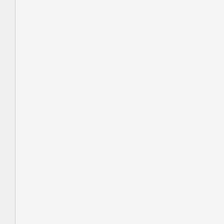how good he is at them. To be he honest lo